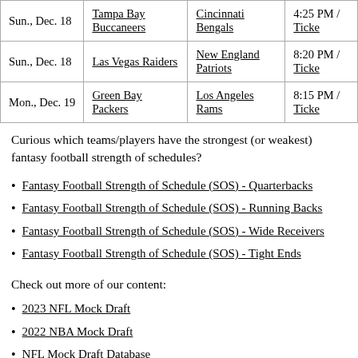| Date | Away | Home | Time / Tickets |
| --- | --- | --- | --- |
| Sun., Dec. 18 | Tampa Bay Buccaneers | Cincinnati Bengals | 4:25 PM / Ticke |
| Sun., Dec. 18 | Las Vegas Raiders | New England Patriots | 8:20 PM / Ticke |
| Mon., Dec. 19 | Green Bay Packers | Los Angeles Rams | 8:15 PM / Ticke |
Curious which teams/players have the strongest (or weakest) fantasy football strength of schedules?
Fantasy Football Strength of Schedule (SOS) - Quarterbacks
Fantasy Football Strength of Schedule (SOS) - Running Backs
Fantasy Football Strength of Schedule (SOS) - Wide Receivers
Fantasy Football Strength of Schedule (SOS) - Tight Ends
Check out more of our content:
2023 NFL Mock Draft
2022 NBA Mock Draft
NFL Mock Draft Database
NBA Mock Draft Database
MLB Mock Draft Database
NHL Mock Draft Database